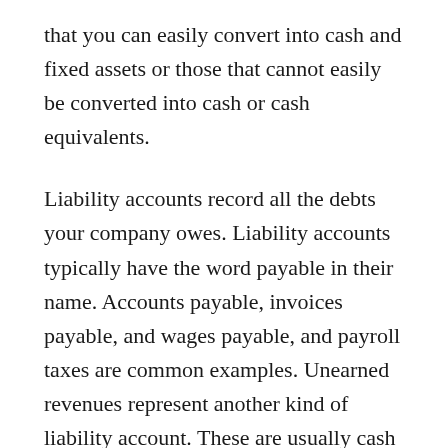that you can easily convert into cash and fixed assets or those that cannot easily be converted into cash or cash equivalents.
Liability accounts record all the debts your company owes. Liability accounts typically have the word payable in their name. Accounts payable, invoices payable, and wages payable, and payroll taxes are common examples. Unearned revenues represent another kind of liability account. These are usually cash payments that your company has received before the services are delivered.
You may also find contingent liabilities or those